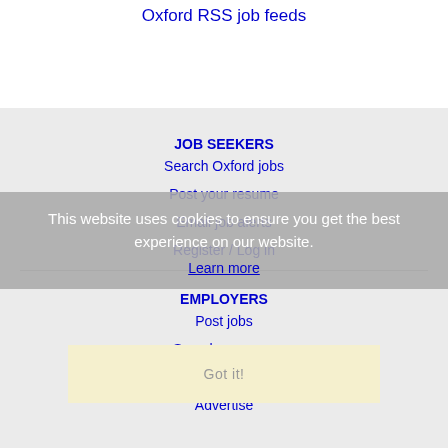Oxford RSS job feeds
JOB SEEKERS
Search Oxford jobs
Post your resume
Email job alerts
Register / Log in
This website uses cookies to ensure you get the best experience on our website.
Learn more
EMPLOYERS
Post jobs
Search resumes
Email resume alerts
Advertise